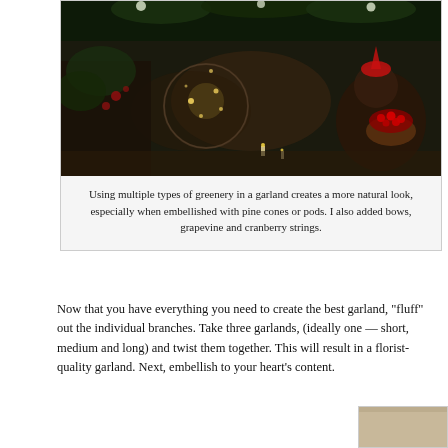[Figure (photo): Holiday decoration scene with dark background showing garlands, candles in wire globe holders, Christmas bears, red berries/ornaments, pine greenery, and warm candlelight]
Using multiple types of greenery in a garland creates a more natural look, especially when embellished with pine cones or pods. I also added bows, grapevine and cranberry strings.
Now that you have everything you need to create the best garland, "fluff" out the individual branches. Take three garlands, (ideally on — short, medium and long) and twist them together. This will result florist-quality garland. Next, embellish to your heart's content.
[Figure (photo): Partial view of another photo showing a tan/beige background, likely another holiday decoration scene]